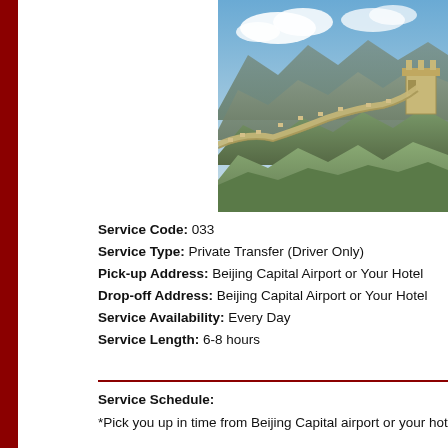[Figure (photo): Aerial view of the Simatai Great Wall of China winding over green and brown mountain ridges under a blue sky with clouds]
Service Code: 033
Service Type: Private Transfer (Driver Only)
Pick-up Address: Beijing Capital Airport or Your Hotel
Drop-off Address: Beijing Capital Airport or Your Hotel
Service Availability: Every Day
Service Length: 6-8 hours
Service Schedule:
*Pick you up in time from Beijing Capital airport or your hotel
*Drive to Simatai Great Wall (120 mins)